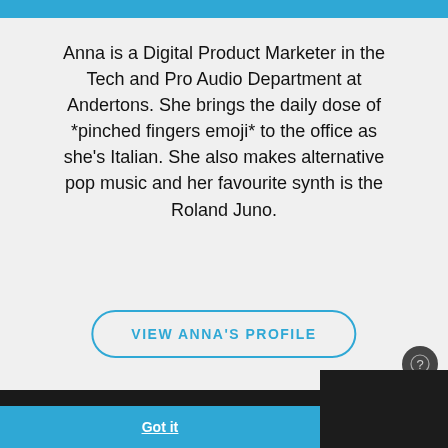Anna is a Digital Product Marketer in the Tech and Pro Audio Department at Andertons. She brings the daily dose of *pinched fingers emoji* to the office as she's Italian. She also makes alternative pop music and her favourite synth is the Roland Juno.
VIEW ANNA'S PROFILE
This website uses cookies to ensure you get the best experience on our website.
Learn more
Got it